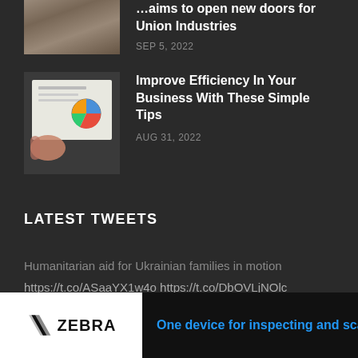aims to open new doors for Union Industries
SEP 5, 2022
[Figure (photo): Thumbnail photo for business efficiency article]
Improve Efficiency In Your Business With These Simple Tips
AUG 31, 2022
LATEST TWEETS
Humanitarian aid for Ukrainian families in motion https://t.co/ASaaYX1w4o https://t.co/DbOVLjNOlc
5 HOURS
[Figure (logo): Zebra Technologies logo with tagline: One device for inspecting and scan...]